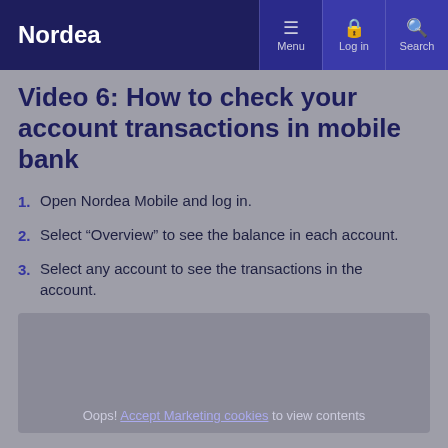Nordea  Menu  Log in  Search
Video 6: How to check your account transactions in mobile bank
Open Nordea Mobile and log in.
Select “Overview” to see the balance in each account.
Select any account to see the transactions in the account.
[Figure (screenshot): Video embed placeholder with message: Oops! Accept Marketing cookies to view contents]
Oops! Accept Marketing cookies to view contents